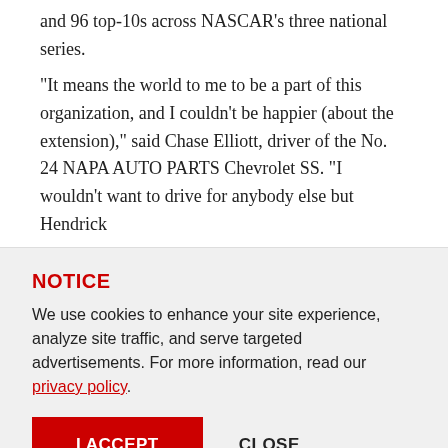and 96 top-10s across NASCAR's three national series.
“It means the world to me to be a part of this organization, and I couldn’t be happier (about the extension),” said Chase Elliott, driver of the No. 24 NAPA AUTO PARTS Chevrolet SS. “I wouldn’t want to drive for anybody else but Hendrick
NOTICE
We use cookies to enhance your site experience, analyze site traffic, and serve targeted advertisements. For more information, read our privacy policy.
I ACCEPT
CLOSE